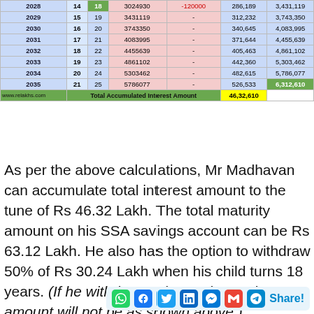| Year | Age (Investor) | Investment Year | Opening Balance | Deposit | Interest | Closing Balance |
| --- | --- | --- | --- | --- | --- | --- |
| 2028 | 14 | 18 | 3024930 | -120000 | 286,189 | 3,431,119 |
| 2029 | 15 | 19 | 3431119 | - | 312,232 | 3,743,350 |
| 2030 | 16 | 20 | 3743350 | - | 340,645 | 4,083,995 |
| 2031 | 17 | 21 | 4083995 | - | 371,644 | 4,455,639 |
| 2032 | 18 | 22 | 4455639 | - | 405,463 | 4,861,102 |
| 2033 | 19 | 23 | 4861102 | - | 442,360 | 5,303,462 |
| 2034 | 20 | 24 | 5303462 | - | 482,615 | 5,786,077 |
| 2035 | 21 | 25 | 5786077 | - | 526,533 | 6,312,610 |
| www.relakhs.com | Total Accumulated Interest Amount | 46,32,610 |  |
As per the above calculations, Mr Madhavan can accumulate total interest amount to the tune of Rs 46.32 Lakh. The total maturity amount on his SSA savings account can be Rs 63.12 Lakh. He also has the option to withdraw 50% of Rs 30.24 Lakh when his child turns 18 years. (If he withdraws, the total maturity amount will not be as shown above.)